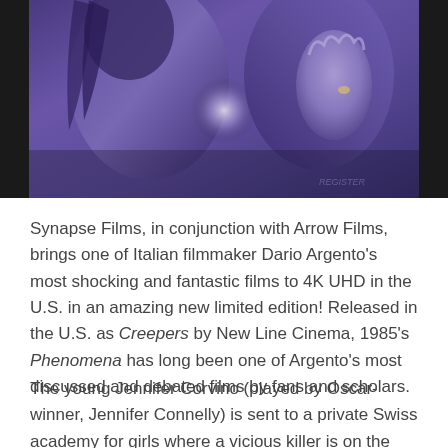[Figure (photo): Atmospheric purple-toned movie poster image showing two figures, one with dark hair and one with a raised fist, with a white-glowing center area and a signature in the lower right.]
Synapse Films, in conjunction with Arrow Films, brings one of Italian filmmaker Dario Argento's most shocking and fantastic films to 4K UHD in the U.S. in an amazing new limited edition! Released in the U.S. as Creepers by New Line Cinema, 1985's Phenomena has long been one of Argento's most discussed and debated films by fans and scholars.
The young Jennifer Corvino (played by Oscar-winner, Jennifer Connelly) is sent to a private Swiss academy for girls where a vicious killer is on the loose. Jennifer has the unique ability to